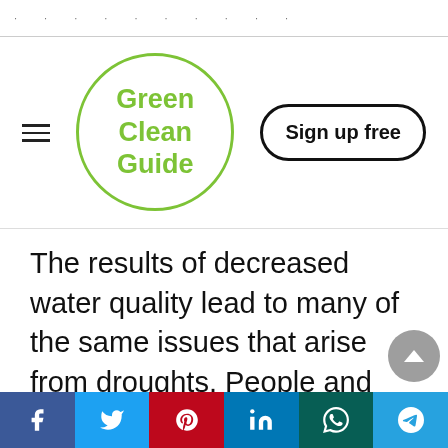. . . . . . . . . .
[Figure (logo): Green Clean Guide circular logo with green border and green text reading 'Green Clean Guide']
[Figure (other): Sign up free button with rounded rectangle border]
The results of decreased water quality lead to many of the same issues that arise from droughts. People and animals need clean water to survive. When they can no longer access this resource, it can increase the risk of illness and death. Water is necessary for sanitation. People need it to wash their hands and clean food before consumption. If they consume unsafe water, it can lead to
Social share bar: Facebook, Twitter, Pinterest, LinkedIn, WhatsApp, Telegram